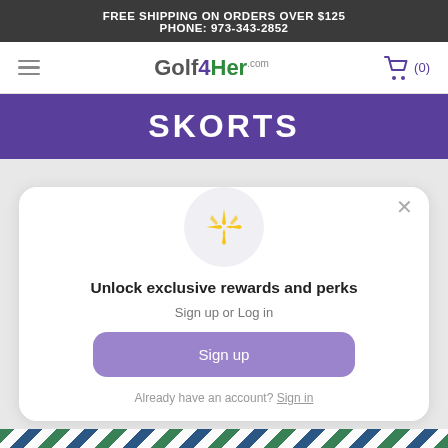FREE SHIPPING ON ORDERS OVER $125
PHONE: 973-343-2852
[Figure (logo): Golf4Her.com logo with navigation hamburger menu and shopping cart icon showing (0) items]
SKORTS
[Figure (infographic): Modal popup with sparkle/star icon in a light grey circle, heading 'Unlock exclusive rewards and perks', subtext 'Sign up or Log in', a purple 'Sign up' button, and 'Already have an account? Sign in' link. Close X button in top right.]
Unlock exclusive rewards and perks
Sign up or Log in
Sign up
Already have an account? Sign in